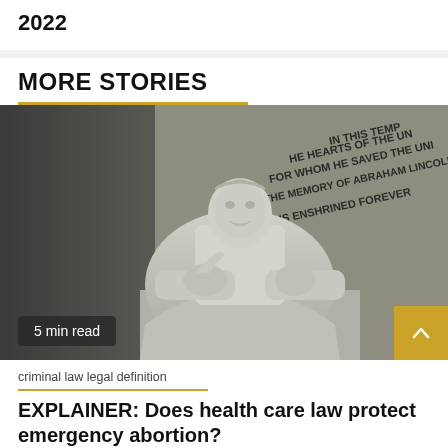2022
MORE STORIES
[Figure (photo): Black and white photograph of the Lincoln Memorial statue of Abraham Lincoln seated, with inscribed text on wall behind reading 'IN THIS TEMPLE AS IN THE HEARTS OF THE PEOPLE FOR WHOM HE SAVED THE UNION THE MEMORY OF ABRAHAM LINCOLN IS ENSHRINED FOREVER']
5 min read
criminal law legal definition
EXPLAINER: Does health care law protect emergency abortion?